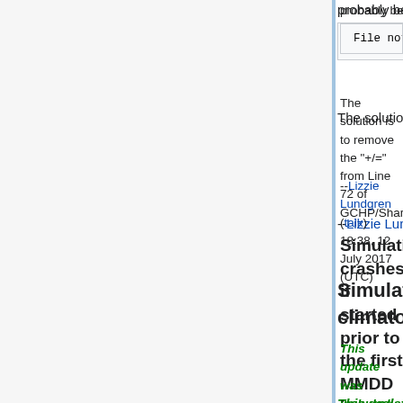probably be an error like this:
File not found: ….libGFDL_fms
The solution is to remove the "+/=" from Line 72 of GCHP/Shared/GFDL_fms/GNUmakefile.
--Lizzie Lundgren (talk) 18:38, 12 July 2017 (UTC)
Simulation crashes if started prior to the first MMDD in climatology files
This update was included in GCHP v11-02b and approved on 14 August 2017.
Prior to GCHP v1.1.0 there was a bug where MAPL subroutine UpdateBracketTime would exit if the